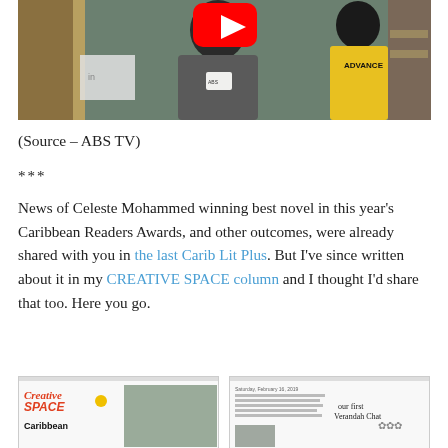[Figure (photo): Video thumbnail showing a person in a grey t-shirt holding a microphone with ABS logo, another person in yellow Advance jersey in background, with a YouTube play button overlay]
(Source – ABS TV)
***
News of Celeste Mohammed winning best novel in this year's Caribbean Readers Awards, and other outcomes, were already shared with you in the last Carib Lit Plus. But I've since written about it in my CREATIVE SPACE column and I thought I'd share that too. Here you go.
[Figure (screenshot): Two newspaper clippings side by side showing Creative Space column featuring Caribbean readers, with text about Celeste Mohammed and 'our first Verandah Chat']